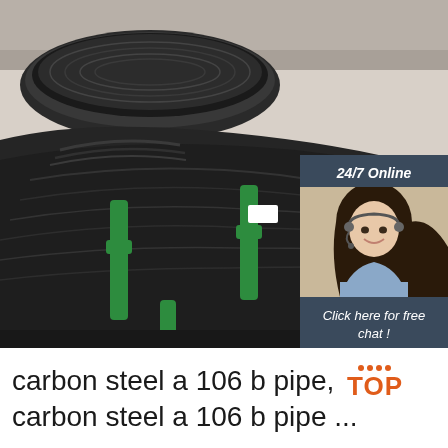[Figure (photo): Industrial warehouse photo showing large coils/bundles of black carbon steel wire rods bound with green straps, stacked in piles. Overlaid in the top-right corner is a customer service widget with a dark navy background showing '24/7 Online' header, a photo of a female customer service agent wearing a headset and smiling, text 'Click here for free chat!' and an orange 'QUOTATION' button.]
carbon steel a 106 b pipe, TOP carbon steel a 106 b pipe ...